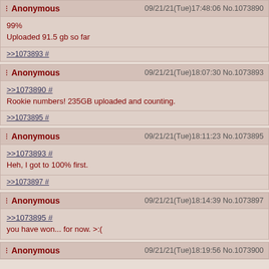Anonymous 09/21/21(Tue)17:48:06 No.1073890 | 99% Uploaded 91.5 gb so far | >>1073893 #
Anonymous 09/21/21(Tue)18:07:30 No.1073893 | >>1073890 # Rookie numbers! 235GB uploaded and counting. | >>1073895 #
Anonymous 09/21/21(Tue)18:11:23 No.1073895 | >>1073893 # Heh, I got to 100% first. | >>1073897 #
Anonymous 09/21/21(Tue)18:14:39 No.1073897 | >>1073895 # you have won... for now. >:(
Anonymous 09/21/21(Tue)18:19:56 No.1073900